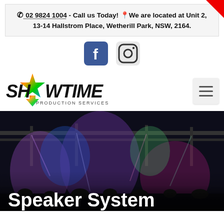📞 02 9824 1004  - Call us Today! 📍We are located at Unit 2, 13-14 Hallstrom Place, Wetherill Park, NSW, 2164.
[Figure (logo): Facebook logo icon (blue square with white f)]
[Figure (logo): Instagram logo icon (camera outline in square)]
[Figure (logo): Showtime Production Services logo - stylized star with rainbow gradient colors, bold black text SHOWTIME with PRODUCTION SERVICES below]
[Figure (photo): Dark concert/event venue photo showing stage lighting rigs with colorful purple, blue and green lights, truss structures, crowd visible below]
Speaker System